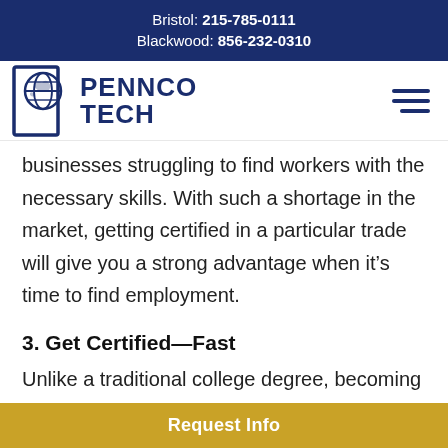Bristol: 215-785-0111 Blackwood: 856-232-0310
[Figure (logo): Pennco Tech logo with globe icon and bold blue text]
businesses struggling to find workers with the necessary skills. With such a shortage in the market, getting certified in a particular trade will give you a strong advantage when it's time to find employment.
3. Get Certified—Fast
Unlike a traditional college degree, becoming certified in a trade will take you less time to complete.
Request Info